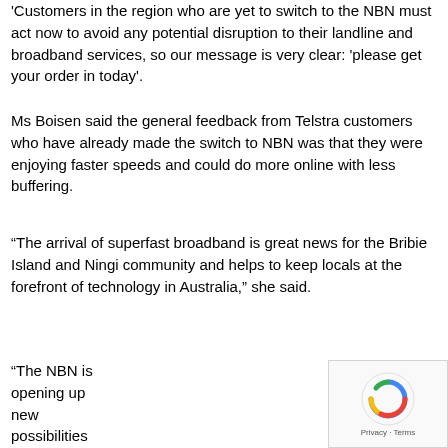'Customers in the region who are yet to switch to the NBN must act now to avoid any potential disruption to their landline and broadband services, so our message is very clear: 'please get your order in today'.
Ms Boisen said the general feedback from Telstra customers who have already made the switch to NBN was that they were enjoying faster speeds and could do more online with less buffering.
“The arrival of superfast broadband is great news for the Bribie Island and Ningi community and helps to keep locals at the forefront of technology in Australia,” she said.
“The NBN is opening up new possibilities for our customers including home automation, faster streaming and less buffering.”
[Figure (logo): reCAPTCHA badge with circular arrow logo and Privacy - Terms text]